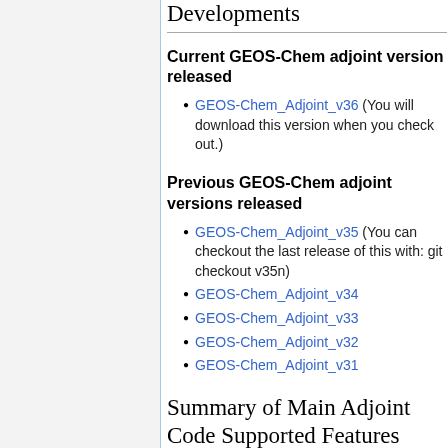Developments
Current GEOS-Chem adjoint version released
GEOS-Chem_Adjoint_v36 (You will download this version when you check out.)
Previous GEOS-Chem adjoint versions released
GEOS-Chem_Adjoint_v35 (You can checkout the last release of this with: git checkout v35n)
GEOS-Chem_Adjoint_v34
GEOS-Chem_Adjoint_v33
GEOS-Chem_Adjoint_v32
GEOS-Chem_Adjoint_v31
Summary of Main Adjoint Code Supported Features